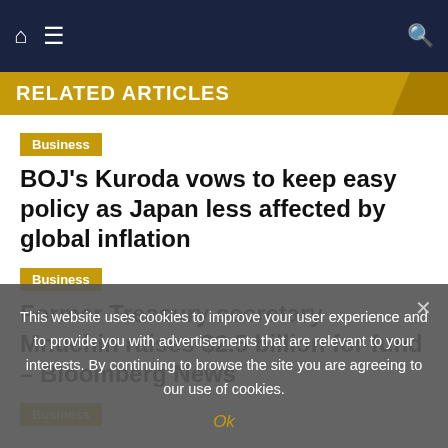Navigation bar with home, menu, and search icons
RELATED ARTICLES
Business
BOJ's Kuroda vows to keep easy policy as Japan less affected by global inflation
Business
Former Treasury secretary Mnuchin raises $2.5 billion for fund – Bloomberg News
Business
This website uses cookies to improve your user experience and to provide you with advertisements that are relevant to your interests. By continuing to browse the site you are agreeing to our use of cookies.
Ok